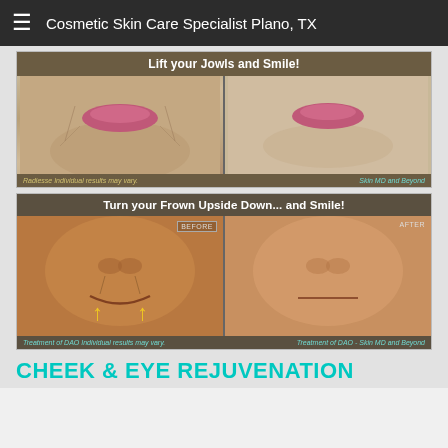≡  Cosmetic Skin Care Specialist Plano, TX
[Figure (photo): Before and after comparison of jowl and smile lift using Radiesse filler, showing two face close-ups side by side with title 'Lift your Jowls and Smile!' and watermark 'Skin MD and Beyond']
[Figure (photo): Before and after comparison showing frown correction treatment, labeled 'Turn your Frown Upside Down... and Smile!' with yellow arrows pointing upward on the before image, labeled 'Treatment of DAO', with 'Skin MD and Beyond' watermark]
CHEEK & EYE REJUVENATION